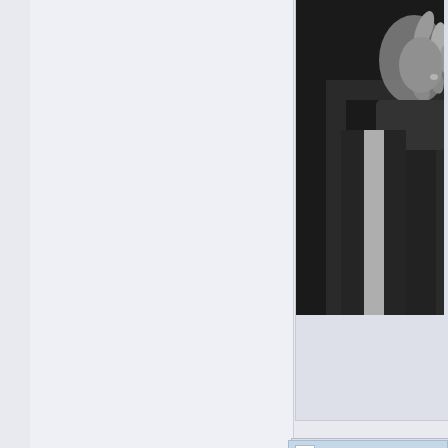[Figure (photo): Black and white photo of a person in a suit with hand gestures, partially cropped on right side of page]
Magneto Vs. Frieza - At
Posted by Ogre.  in M
years ago
Board: M.U.G.E.N Dis
[Figure (screenshot): Video thumbnail showing Magneto V with a channel icon featuring an anime character with purple hair on black background]